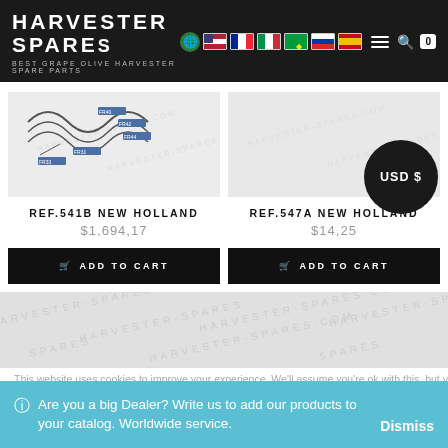HARVESTER SPARES — BEST GRAPE OLIVE HARVESTER SPARE PARTS
[Figure (schematic): Technical schematic diagram of harvester spare part REF.541B New Holland with labeled component references]
[Figure (schematic): Partial view of harvester spare part REF.547A New Holland with watermark]
REF.541B NEW HOLLAND
$1,694,17
ADD TO CART
REF.547A NEW HOLLAND
$14,25
ADD TO CART
USD $
Are you a big Dealer? Write us to add our products to your catalog. Worldwide service.
Dismiss